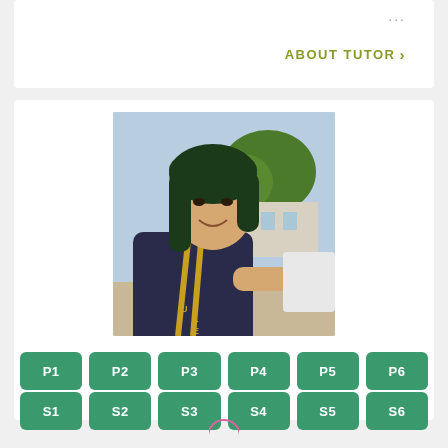...
ABOUT TUTOR >
[Figure (photo): Young woman with dark green hair wearing a graduation stole, smiling, outdoors with trees and a building in the background.]
P1
P2
P3
P4
P5
P6
S1
S2
S3
S4
S5
S6